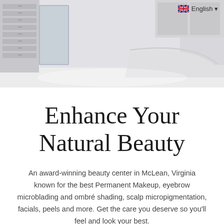[Figure (photo): Interior photo of a bright, white beauty salon/medical spa reception area with white cabinets, drawers, and curved reception desk. Clean, clinical, modern aesthetic.]
Enhance Your Natural Beauty
An award-winning beauty center in McLean, Virginia known for the best Permanent Makeup, eyebrow microblading and ombré shading, scalp micropigmentation, facials, peels and more. Get the care you deserve so you'll feel and look your best.
Book Now